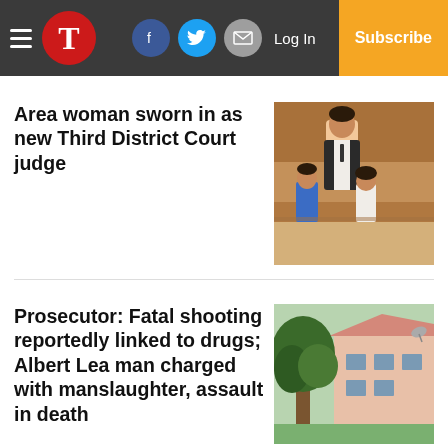T | Log In | Subscribe
Area woman sworn in as new Third District Court judge
[Figure (photo): A man in a vest and tie stands with two children, a boy in a blue vest and a girl in a white dress, in what appears to be a courtroom.]
Prosecutor: Fatal shooting reportedly linked to drugs; Albert Lea man charged with manslaughter, assault in death
[Figure (photo): Exterior photo of a house with a tree in the foreground, showing a pink/tan building with a satellite dish visible.]